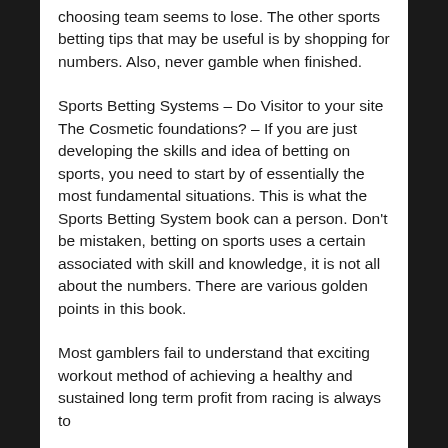choosing team seems to lose. The other sports betting tips that may be useful is by shopping for numbers. Also, never gamble when finished.
Sports Betting Systems – Do Visitor to your site The Cosmetic foundations? – If you are just developing the skills and idea of betting on sports, you need to start by of essentially the most fundamental situations. This is what the Sports Betting System book can a person. Don't be mistaken, betting on sports uses a certain associated with skill and knowledge, it is not all about the numbers. There are various golden points in this book.
Most gamblers fail to understand that exciting workout method of achieving a healthy and sustained long term profit from racing is always to